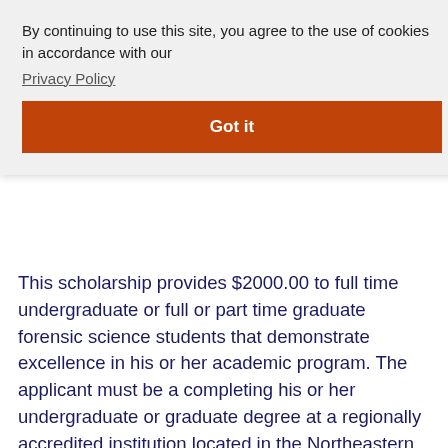ant
al
By continuing to use this site, you agree to the use of cookies in accordance with our Privacy Policy
Got it
This scholarship provides $2000.00 to full time undergraduate or full or part time graduate forensic science students that demonstrate excellence in his or her academic program. The applicant must be a completing his or her undergraduate or graduate degree at a regionally accredited institution located in the Northeastern U.S. (New England, New Jersey, New York, and Pennsylvania). Along with the completed application form, candidates must submit a 250-500 word letter describing his or her personal